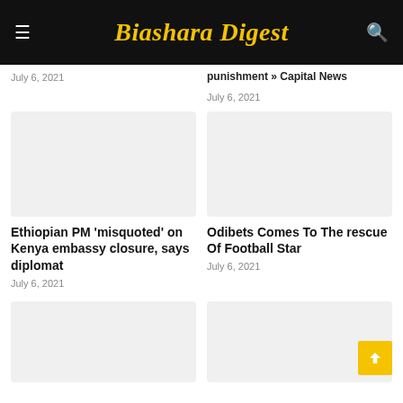Biashara Digest
July 6, 2021
punishment » Capital News
July 6, 2021
[Figure (photo): Placeholder thumbnail image for Ethiopian PM article]
Ethiopian PM 'misquoted' on Kenya embassy closure, says diplomat
July 6, 2021
[Figure (photo): Placeholder thumbnail image for Odibets article]
Odibets Comes To The rescue Of Football Star
July 6, 2021
[Figure (photo): Placeholder thumbnail image bottom left]
[Figure (photo): Placeholder thumbnail image bottom right]